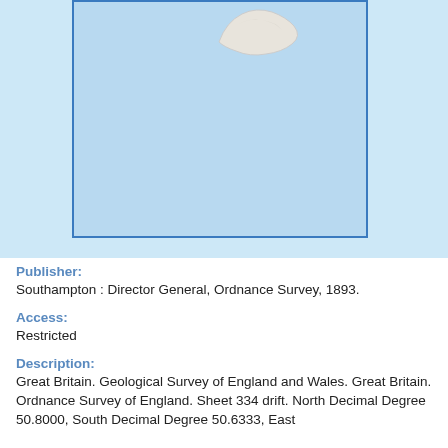[Figure (map): A geographic map thumbnail showing a light blue sea/ocean background with a darker blue inner rectangle outline. A small white island shape (land mass) is visible in the upper center of the inner map box.]
Publisher:
Southampton : Director General, Ordnance Survey, 1893.
Access:
Restricted
Description:
Great Britain. Geological Survey of England and Wales. Great Britain. Ordnance Survey of England. Sheet 334 drift. North Decimal Degree 50.8000, South Decimal Degree 50.6333, East